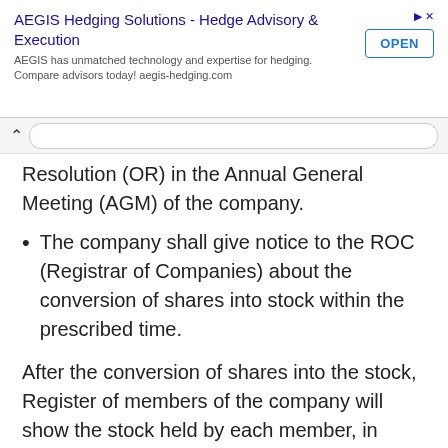[Figure (other): Advertisement banner for AEGIS Hedging Solutions with title, description, and OPEN button]
Resolution (OR) in the Annual General Meeting (AGM) of the company.
The company shall give notice to the ROC (Registrar of Companies) about the conversion of shares into stock within the prescribed time.
After the conversion of shares into the stock, Register of members of the company will show the stock held by each member, in place of shares held by them. Although, there